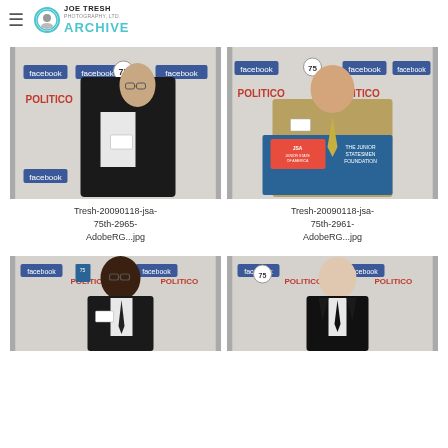JOE TRESH ARCHIVE
[Figure (photo): Man in black tuxedo standing in front of step-and-repeat backdrop with Facebook and Politico logos]
Tresh-20090118-jsa-75th-2965-AdobeRG...jpg
[Figure (photo): Man in tan jacket at podium with JSA Junior Statesmen Foundation sign, step-and-repeat backdrop with Facebook and Politico logos]
Tresh-20090118-jsa-75th-2961-AdobeRG...jpg
[Figure (photo): Black man in dark suit and tie standing in front of step-and-repeat backdrop with Politico and Facebook logos]
[Figure (photo): Young white man in dark suit standing in front of step-and-repeat backdrop with Politico and Facebook logos]